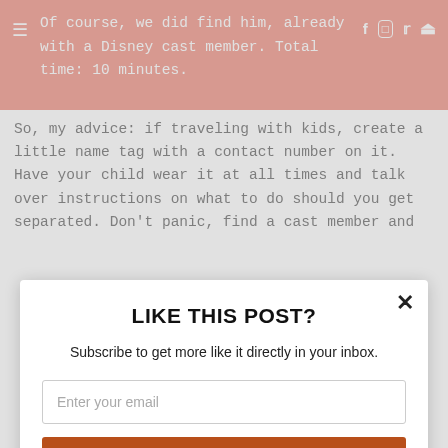Of course, we did find him, already with a Disney cast member. Total time: 10 minutes.
So, my advice: if traveling with kids, create a little name tag with a contact number on it. Have your child wear it at all times and talk over instructions on what to do should you get separated. Don't panic, find a cast member and
LIKE THIS POST?
Subscribe to get more like it directly in your inbox.
Enter your email
Subscribe